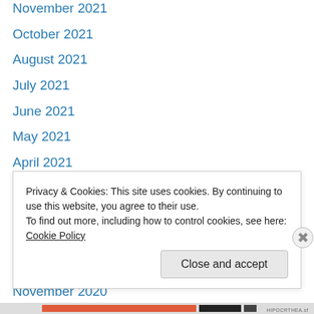November 2021
October 2021
August 2021
July 2021
June 2021
May 2021
April 2021
March 2021
February 2021
January 2021
December 2020
November 2020
October 2020
September 2020
Privacy & Cookies: This site uses cookies. By continuing to use this website, you agree to their use.
To find out more, including how to control cookies, see here: Cookie Policy
Close and accept